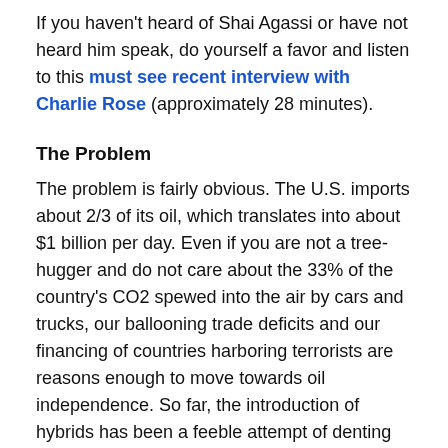If you haven't heard of Shai Agassi or have not heard him speak, do yourself a favor and listen to this must see recent interview with Charlie Rose (approximately 28 minutes).
The Problem
The problem is fairly obvious. The U.S. imports about 2/3 of its oil, which translates into about $1 billion per day. Even if you are not a tree-hugger and do not care about the 33% of the country's CO2 spewed into the air by cars and trucks, our ballooning trade deficits and our financing of countries harboring terrorists are reasons enough to move towards oil independence. So far, the introduction of hybrids has been a feeble attempt of denting the 98% of transportation vehicles powered by oil. The Toyota Prius